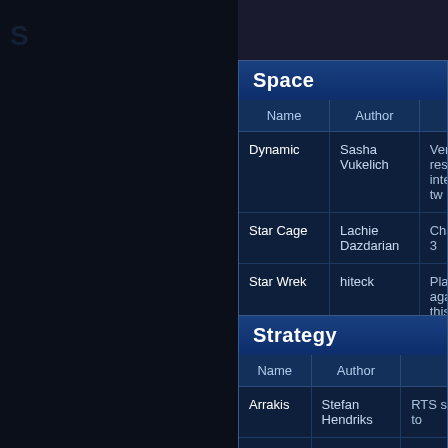Space
| Name | Author |  |
| --- | --- | --- |
| Dynamic | Sasha Vukelich | Vertical hi-res interesting tw… |
| Star Cage | Lachie Dazdarian | Challenging 3… |
| Star Wrek | hiteck | Play against t… this 360° spa… |
| TerraScape: Breakdown Velocity | Pieslice Productions | Stunning "Ter… combat game… |
Strategy
| Name | Author |  |
| --- | --- | --- |
| Arrakis | Stefan Hendriks | RTS similar to… |
| Troopers | Aspect Productions | Challenging r… |